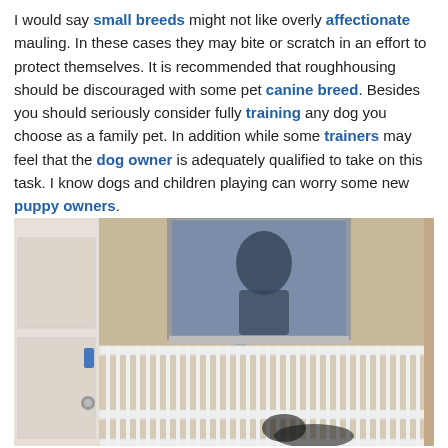I would say small breeds might not like overly affectionate mauling. In these cases they may bite or scratch in an effort to protect themselves. It is recommended that roughhousing should be discouraged with some pet canine breed. Besides you should seriously consider fully training any dog you choose as a family pet. In addition while some trainers may feel that the dog owner is adequately qualified to take on this task. I know dogs and children playing can worry some new puppy owners.
[Figure (photo): Photo of a white metal baby/pet gate installed in a doorway or hallway, with a door visible on the left side and a mirror or window in the background showing a reflection.]